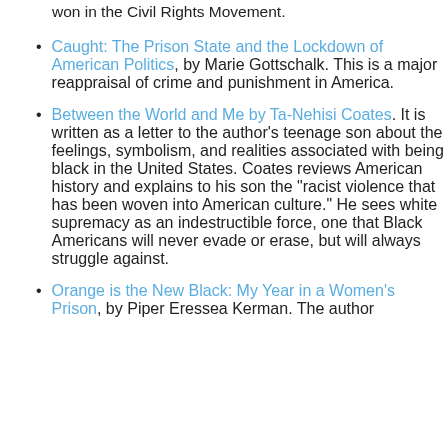won in the Civil Rights Movement.
Caught: The Prison State and the Lockdown of American Politics, by Marie Gottschalk. This is a major reappraisal of crime and punishment in America.
Between the World and Me by Ta-Nehisi Coates. It is written as a letter to the author's teenage son about the feelings, symbolism, and realities associated with being black in the United States. Coates reviews American history and explains to his son the "racist violence that has been woven into American culture." He sees white supremacy as an indestructible force, one that Black Americans will never evade or erase, but will always struggle against.
Orange is the New Black: My Year in a Women's Prison, by Piper Eressea Kerman. The author